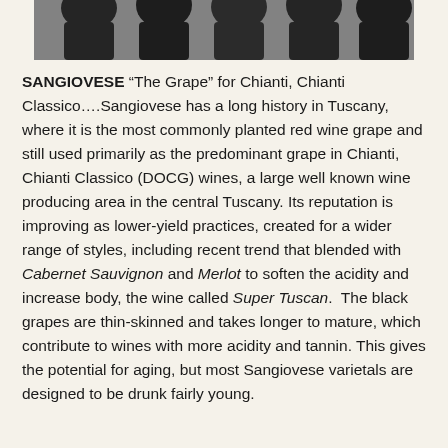[Figure (photo): Top portion of image showing dark wine bottles from above, arranged in a row against a grey background.]
SANGIOVESE “The Grape” for Chianti, Chianti Classico….Sangiovese has a long history in Tuscany, where it is the most commonly planted red wine grape and still used primarily as the predominant grape in Chianti, Chianti Classico (DOCG) wines, a large well known wine producing area in the central Tuscany. Its reputation is improving as lower-yield practices, created for a wider range of styles, including recent trend that blended with Cabernet Sauvignon and Merlot to soften the acidity and increase body, the wine called Super Tuscan. The black grapes are thin-skinned and takes longer to mature, which contribute to wines with more acidity and tannin. This gives the potential for aging, but most Sangiovese varietals are designed to be drunk fairly young.